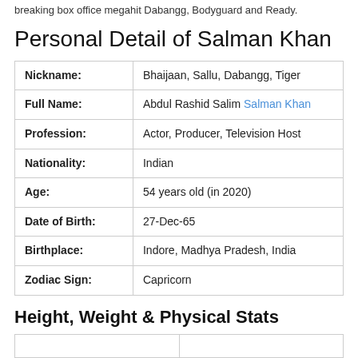breaking box office megahit Dabangg, Bodyguard and Ready.
Personal Detail of Salman Khan
| Nickname: | Bhaijaan, Sallu, Dabangg, Tiger |
| Full Name: | Abdul Rashid Salim Salman Khan |
| Profession: | Actor, Producer, Television Host |
| Nationality: | Indian |
| Age: | 54 years old (in 2020) |
| Date of Birth: | 27-Dec-65 |
| Birthplace: | Indore, Madhya Pradesh, India |
| Zodiac Sign: | Capricorn |
Height, Weight & Physical Stats